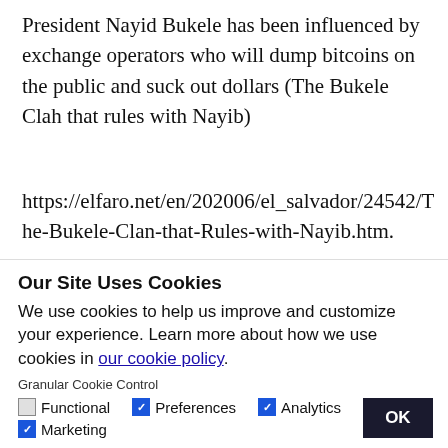President Nayid Bukele has been influenced by exchange operators who will dump bitcoins on the public and suck out dollars (The Bukele Clah that rules with Nayib)
https://elfaro.net/en/202006/el_salvador/24542/The-Bukele-Clan-that-Rules-with-Nayib.htm.
El Salvador is now fully dollarized after its central
Our Site Uses Cookies
We use cookies to help us improve and customize your experience. Learn more about how we use cookies in our cookie policy.
Granular Cookie Control
Functional  Preferences  Analytics  OK  Marketing